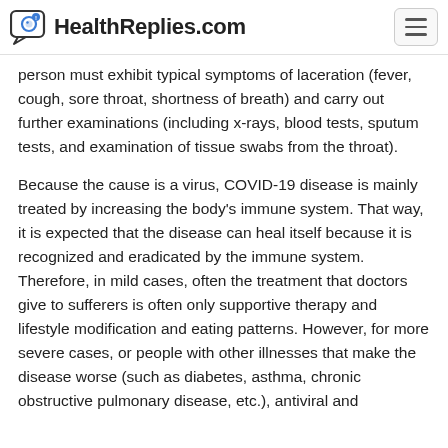HealthReplies.com
person must exhibit typical symptoms of laceration (fever, cough, sore throat, shortness of breath) and carry out further examinations (including x-rays, blood tests, sputum tests, and examination of tissue swabs from the throat).
Because the cause is a virus, COVID-19 disease is mainly treated by increasing the body's immune system. That way, it is expected that the disease can heal itself because it is recognized and eradicated by the immune system. Therefore, in mild cases, often the treatment that doctors give to sufferers is often only supportive therapy and lifestyle modification and eating patterns. However, for more severe cases, or people with other illnesses that make the disease worse (such as diabetes, asthma, chronic obstructive pulmonary disease, etc.), antiviral and